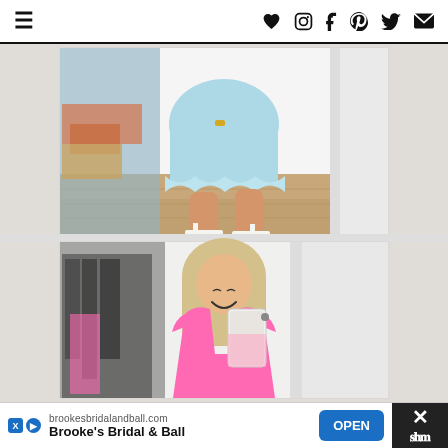Navigation bar with hamburger menu and social icons: heart, Instagram, Facebook, Pinterest, Twitter, email
[Figure (photo): Top photo: legs of a woman wearing a light blue tiered dress with white sandals, standing on wood floor next to a doorway. Bottom photo: blonde woman in pink ruffle-sleeve dress taking a mirror selfie, smiling.]
Ad: brookesbridalandball.com | Brooke's Bridal & Ball | OPEN button | X close button